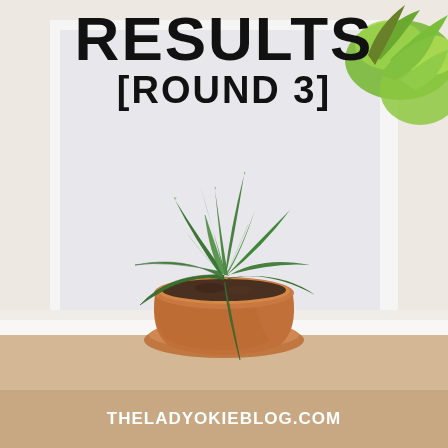[Figure (photo): A spiky green aloe-like plant in a terracotta pot sitting on a white windowsill, with a bright window in the background and a leafy green plant in the upper right corner.]
RESULTS
[ROUND 3]
THELADYOKIEBLOG.COM